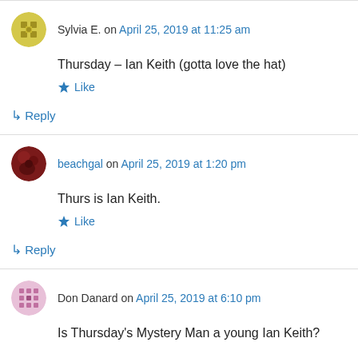Sylvia E. on April 25, 2019 at 11:25 am
Thursday – Ian Keith (gotta love the hat)
Like
↳ Reply
beachgal on April 25, 2019 at 1:20 pm
Thurs is Ian Keith.
Like
↳ Reply
Don Danard on April 25, 2019 at 6:10 pm
Is Thursday's Mystery Man a young Ian Keith?